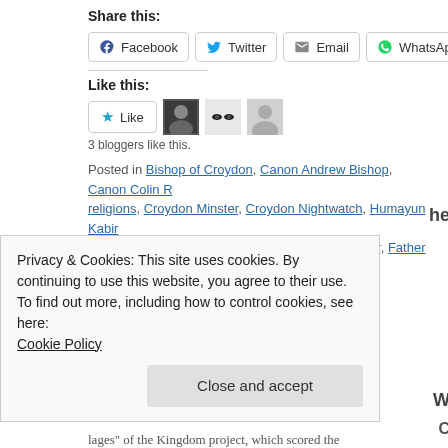Share this:
Facebook  Twitter  Email  WhatsApp  More
Like this:
Like  [3 blogger avatars]
3 bloggers like this.
Posted in Bishop of Croydon, Canon Andrew Bishop, Canon Colin [religions, Croydon Minster, Croydon Nightwatch, Humayun Kabir] Andrew Bishop, Croydon Council, Croydon Minster, Father Lee Ar... Comments
Privacy & Cookies: This site uses cookies. By continuing to use this website, you agree to their use. To find out more, including how to control cookies, see here: Cookie Policy
Close and accept
legacy" of the Kingdom project, which scored the